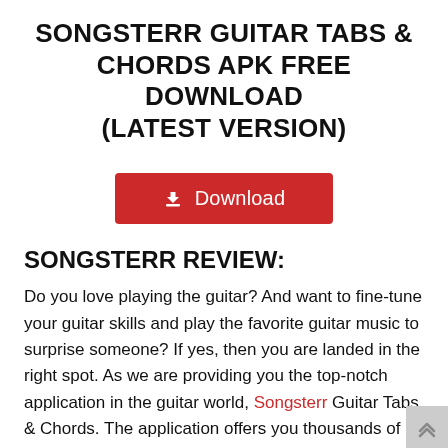SONGSTERR GUITAR TABS & CHORDS APK FREE DOWNLOAD (LATEST VERSION)
[Figure (other): Red download button with download icon and text 'Download']
SONGSTERR REVIEW:
Do you love playing the guitar? And want to fine-tune your guitar skills and play the favorite guitar music to surprise someone? If yes, then you are landed in the right spot. As we are providing you the top-notch application in the guitar world, Songsterr Guitar Tabs & Chords. The application offers you thousands of high-quality guitar songs drum, base chords. So, that you could learn from scratch how to